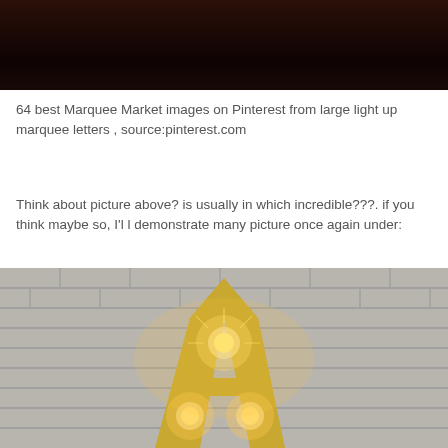[Figure (photo): Dark wood panel background, top portion of a photo, very dark brown tones]
64 best Marquee Market images on Pinterest from large light up marquee letters , source:pinterest.com
Think about picture above? is usually in which incredible???. if you think maybe so, I'll demonstrate many picture once again under:
[Figure (photo): A large illuminated letter A marquee sign with glowing Edison bulbs mounted against a white brick wall, golden metallic letter with warm light]